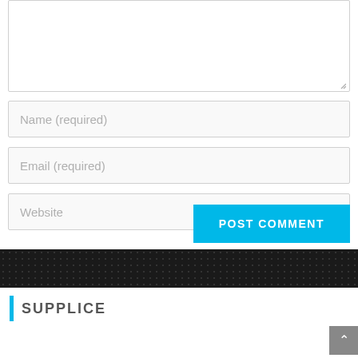[Figure (screenshot): Comment form with textarea at top (partially visible), then Name (required), Email (required), and Website text input fields, followed by a POST COMMENT button in cyan/blue.]
Name (required)
Email (required)
Website
POST COMMENT
SUPPLICE